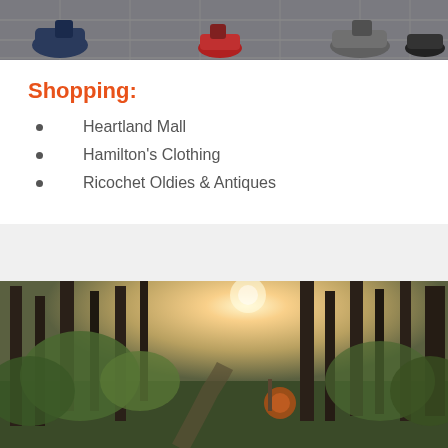[Figure (photo): Close-up of people's feet and shoes on a paved outdoor surface / plaza]
Shopping:
Heartland Mall
Hamilton's Clothing
Ricochet Oldies & Antiques
[Figure (photo): Sunlit forest path winding through tall evergreen trees with warm golden lens flare]